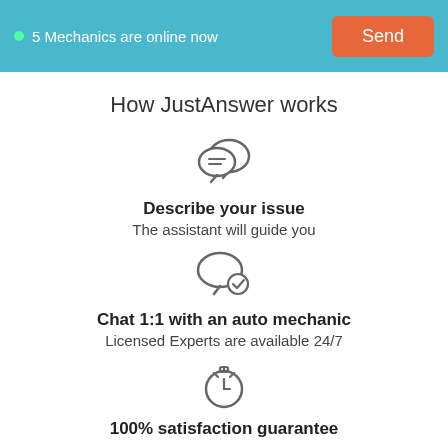5 Mechanics are online now
How JustAnswer works
[Figure (illustration): Chat/messaging icon with two speech bubbles]
Describe your issue
The assistant will guide you
[Figure (illustration): Speech bubble with a checkmark inside]
Chat 1:1 with an auto mechanic
Licensed Experts are available 24/7
[Figure (illustration): Stopwatch/timer icon]
100% satisfaction guarantee